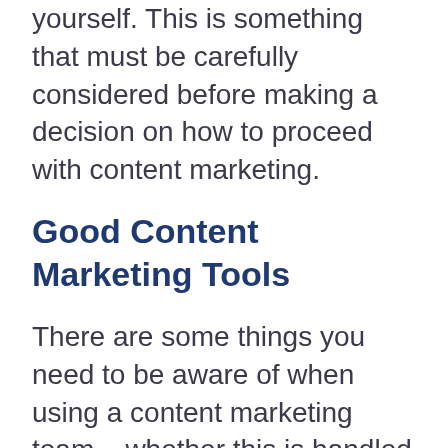yourself. This is something that must be carefully considered before making a decision on how to proceed with content marketing.
Good Content Marketing Tools
There are some things you need to be aware of when using a content marketing team – whether this is handled by your department in Melbourne or